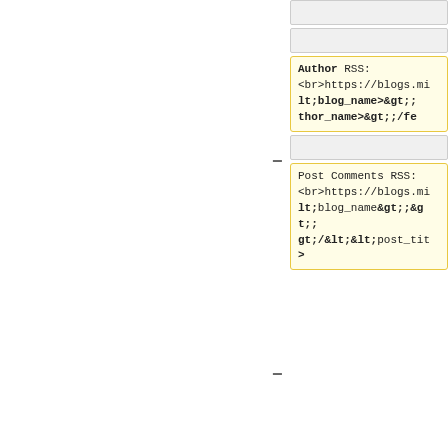[gray input box 1]
[gray input box 2]
Author RSS:
<br>https://blogs.mi...lt;blog_name&gt;&gt;...thor_name&gt;&gt;/fe...
[gray input box 3]
Post Comments RSS:
<br>https://blogs.mi...lt;blog_name&gt;&gt;...gt;/&lt;&lt;post_tit...
>